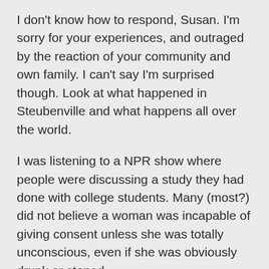I don't know how to respond, Susan. I'm sorry for your experiences, and outraged by the reaction of your community and own family. I can't say I'm surprised though. Look at what happened in Steubenville and what happens all over the world.
I was listening to a NPR show where people were discussing a study they had done with college students. Many (most?) did not believe a woman was incapable of giving consent unless she was totally unconscious, even if she was obviously drunk or stoned.
The second season of House of Cards has a plot line that involves rape in the military